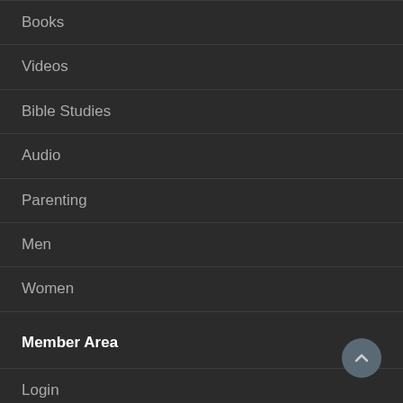Books
Videos
Bible Studies
Audio
Parenting
Men
Women
Member Area
Login
Membership Levels